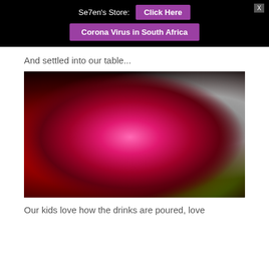Se7en's Store: Click Here | Corona Virus in South Africa
And settled into our table...
[Figure (photo): A vibrant floral arrangement featuring a large pink protea in the center, red banksia flowers on the left, green leucadendron buds, and grey lichen/dried foliage, all placed in a red enamel mug against a dark background.]
Our kids love how the drinks are poured, love